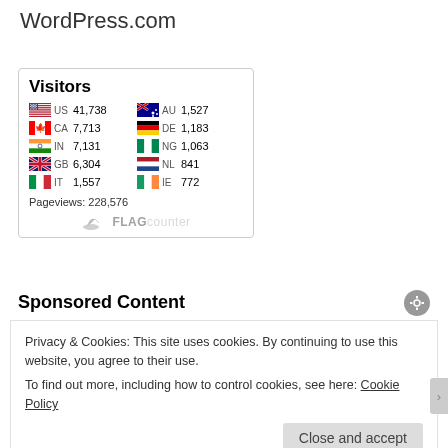WordPress.com
[Figure (infographic): Flag Counter widget showing visitor statistics by country. Visitors: US 41,738 | CA 7,713 | IN 7,131 | GB 6,304 | IT 1,557 | AU 1,527 | DE 1,183 | NG 1,063 | NL 841 | IE 772. Pageviews: 228,576. Branded with FLAG counter logo.]
Sponsored Content
Privacy & Cookies: This site uses cookies. By continuing to use this website, you agree to their use.
To find out more, including how to control cookies, see here: Cookie Policy
Close and accept